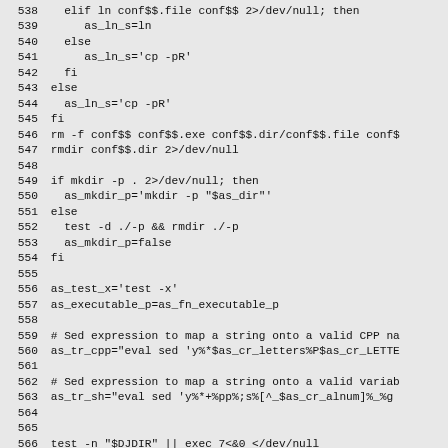[Figure (screenshot): Source code listing showing shell script lines 538-567, monospace font on gray background. Lines include elif/else/fi blocks for ln and cp commands, mkdir -p testing, as_test_x and as_executable_p assignments, Sed expression comments and assignments for CPP name and variable name mapping, and test/exec commands.]